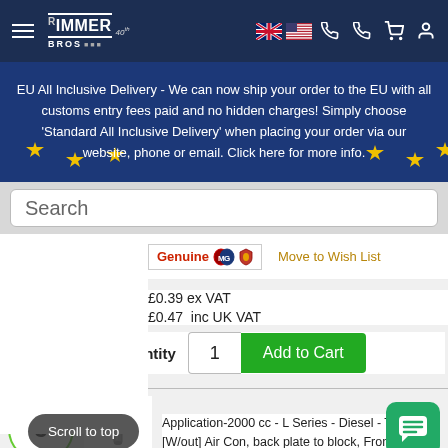Rimmer Bros navigation bar with hamburger menu, logo, and icons
EU All Inclusive Delivery - We can now ship your order to the EU with all customs entry fees paid and no hidden charges! Simply choose 'Standard All Inclusive Delivery' when placing your order via our website, phone or email. Click here for more info.
Search
[Figure (logo): Genuine MG Rover badge]
Move to Wish List
£0.39 ex VAT
£0.47  inc UK VAT
Quantity  1  Add to Cart
3
[Figure (photo): Metal dowel pin product photo]
Dowel - 1K51 - Genuine MG Rover
Application-2000 cc - L Series - Diesel - Turbo - [W/out] Air Con, back plate to block, From Year-[From] Year-1980, To Prefix-20T2N14N, To SN-7506, CP Type-Engine, Qty Req-1
Scroll to top